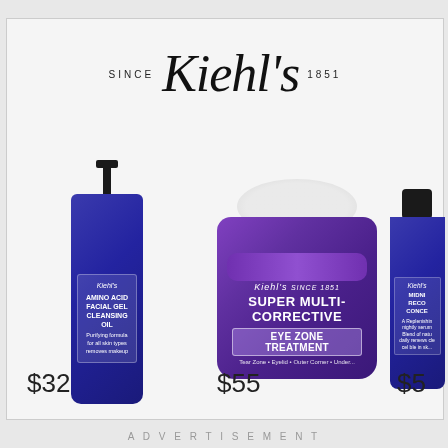[Figure (logo): Kiehl's logo with cursive script and 'SINCE 1851' text]
[Figure (photo): Kiehl's blue pump bottle product]
$32
[Figure (photo): Kiehl's Super Multi-Corrective Eye Zone Treatment purple jar with cream shown]
$55
[Figure (photo): Kiehl's midnight recovery concentrate blue bottle (partially visible)]
$5...
ADVERTISEMENT